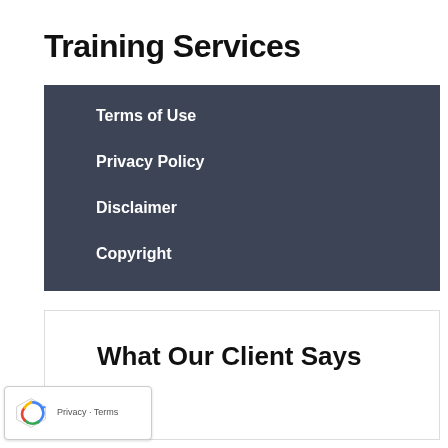Training Services
Terms of Use
Privacy Policy
Disclaimer
Copyright
What Our Client Says